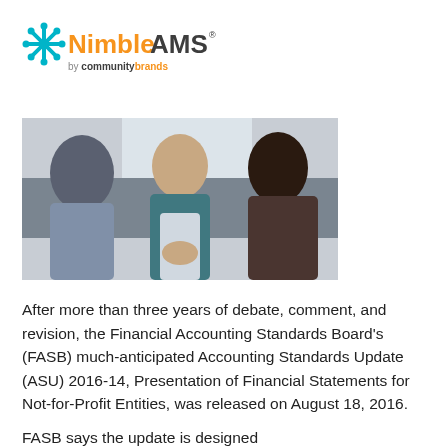[Figure (logo): Nimble AMS by communitybrands logo]
[Figure (photo): Three people sitting on a couch in a meeting or discussion setting]
After more than three years of debate, comment, and revision, the Financial Accounting Standards Board's (FASB) much-anticipated Accounting Standards Update (ASU) 2016-14, Presentation of Financial Statements for Not-for-Profit Entities, was released on August 18, 2016.
FASB says the update is designed